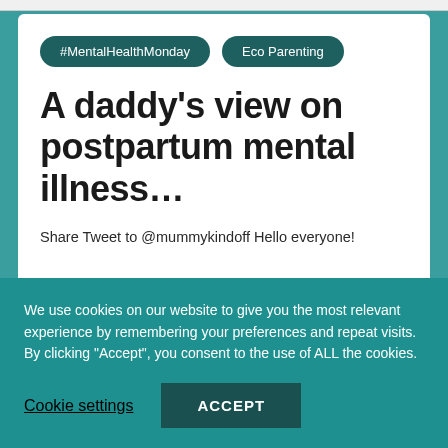#MentalHealthMonday
Eco Parenting
A daddy's view on postpartum mental illness…
Share Tweet to @mummykindoff Hello everyone!
We use cookies on our website to give you the most relevant experience by remembering your preferences and repeat visits. By clicking "Accept", you consent to the use of ALL the cookies.
Cookie settings
ACCEPT